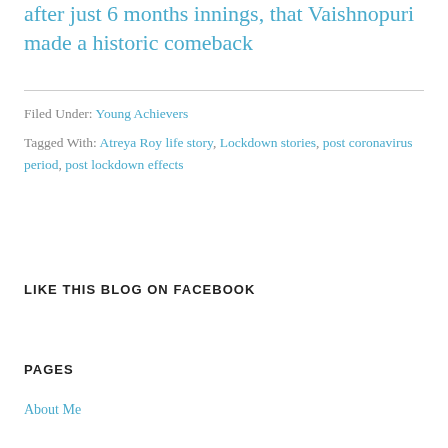after just 6 months innings, that Vaishnopuri made a historic comeback
Filed Under: Young Achievers
Tagged With: Atreya Roy life story, Lockdown stories, post coronavirus period, post lockdown effects
LIKE THIS BLOG ON FACEBOOK
PAGES
About Me